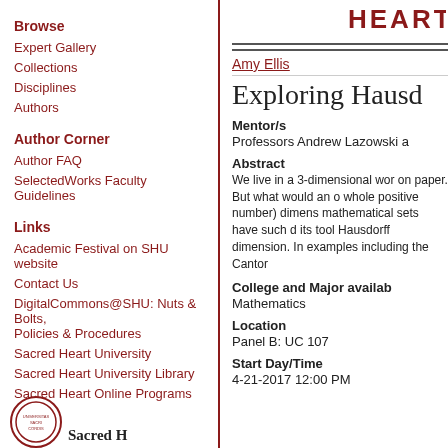Browse
Expert Gallery
Collections
Disciplines
Authors
Author Corner
Author FAQ
SelectedWorks Faculty Guidelines
Links
Academic Festival on SHU website
Contact Us
DigitalCommons@SHU: Nuts & Bolts, Policies & Procedures
Sacred Heart University
Sacred Heart University Library
Sacred Heart Online Programs
[Figure (logo): HEART logo text in red at top right]
Amy Ellis
Exploring Hausd
Mentor/s
Professors Andrew Lazowski a
Abstract
We live in a 3-dimensional wor on paper. But what would an o whole positive number) dimens mathematical sets have such d its tool Hausdorff dimension. In examples including the Cantor
College and Major availab
Mathematics
Location
Panel B: UC 107
Start Day/Time
4-21-2017 12:00 PM